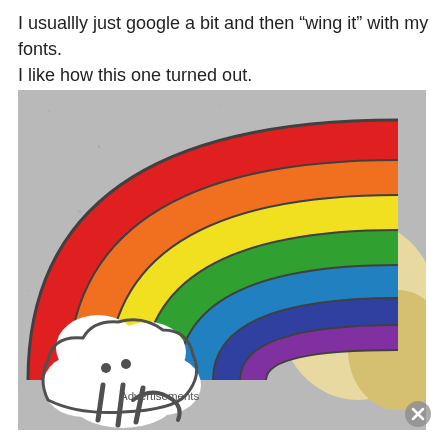I usuallly just google a bit and then “wing it” with my fonts. I like how this one turned out.
[Figure (photo): A decorated cookie shaped like a rainbow with clouds. The cookie features bright rainbow colors (red, orange, yellow, green, blue, purple) arching over white cloud frosting, with dark gray outline piping details on a gray speckled background.]
Advertisements